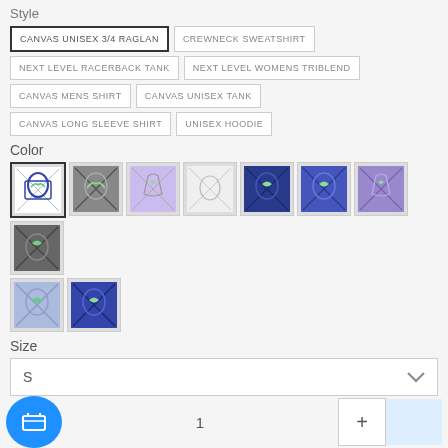Style
CANVAS UNISEX 3/4 RAGLAN (selected)
CREWNECK SWEATSHIRT
NEXT LEVEL RACERBACK TANK
NEXT LEVEL WOMENS TRIBLEND
CANVAS MENS SHIRT
CANVAS UNISEX TANK
CANVAS LONG SLEEVE SHIRT
UNISEX HOODIE
Color
[Figure (other): 10 color swatch thumbnails of shirt styles, first selected]
Size
S (dropdown)
Quantity: 1, plus button, add to cart button